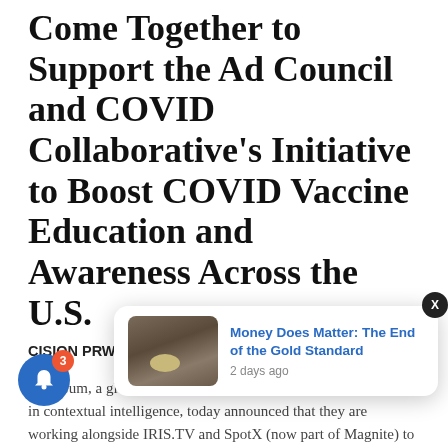Come Together to Support the Ad Council and COVID Collaborative's Initiative to Boost COVID Vaccine Education and Awareness Across the U.S.
CISION PRWeb reported:
GumGum, a global technology and media company specializing in contextual intelligence, today announced that they are working alongside IRIS.TV and SpotX (now part of Magnite) to help the Ad Council and COVID Collaborative promote COVID-19 vaccine education in relevant, suitable video environme...
...d Council s... a campaign that could make a difference. Knowing that 60% of consumers are more likely to look at an ad that's
[Figure (other): Notification popup showing article link 'Money Does Matter: The End of the Gold Standard' with timestamp '2 days ago' and a thumbnail image of hands holding coins, plus a blue bell notification button with badge showing 3.]